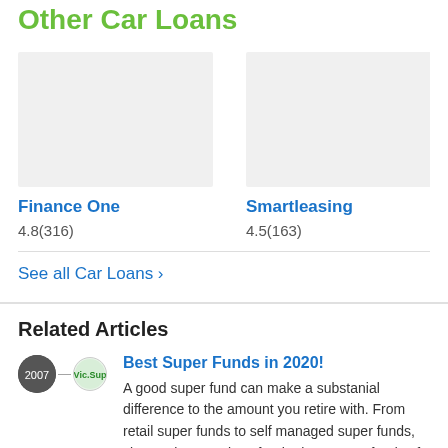Other Car Loans
[Figure (other): Placeholder image card for Finance One car loan]
Finance One
4.8(316)
[Figure (other): Placeholder image card for Smartleasing car loan]
Smartleasing
4.5(163)
[Figure (other): Placeholder image card for Fast car loan (partially visible)]
Fast
4.8(3
See all Car Loans ›
Related Articles
[Figure (other): Article thumbnail icons for Best Super Funds article]
Best Super Funds in 2020!
A good super fund can make a substanial difference to the amount you retire with. From retail super funds to self managed super funds, view reviewer ratings for the best super funds of 2020!